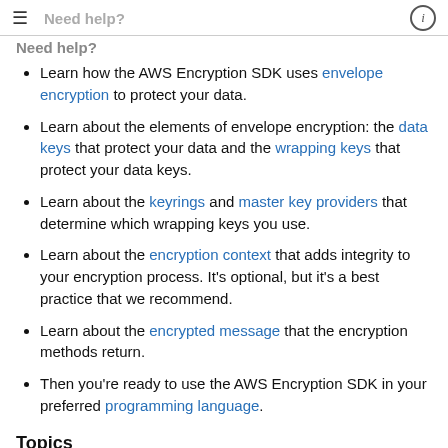Need help?
Learn how the AWS Encryption SDK uses envelope encryption to protect your data.
Learn about the elements of envelope encryption: the data keys that protect your data and the wrapping keys that protect your data keys.
Learn about the keyrings and master key providers that determine which wrapping keys you use.
Learn about the encryption context that adds integrity to your encryption process. It's optional, but it's a best practice that we recommend.
Learn about the encrypted message that the encryption methods return.
Then you're ready to use the AWS Encryption SDK in your preferred programming language.
Topics